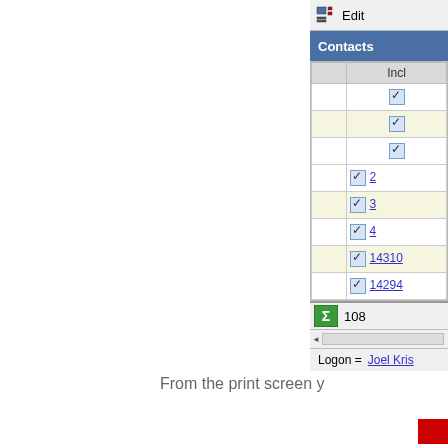[Figure (screenshot): Partial screenshot of a contacts grid UI showing a table with checkboxes in 'Incl' column and linked numeric IDs (2, 3, 4, 14310, 14294), a sum row showing 108, a scrollbar, and a logon bar showing 'Logon = Joel Kris...']
From the print screen y